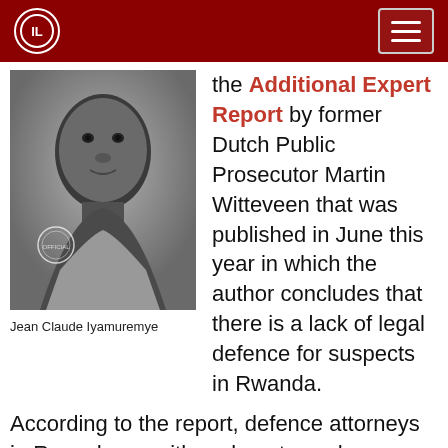ILR logo and navigation menu
[Figure (photo): Black and white passport-style photo of Jean Claude Iyamuremye, a young African man looking directly at the camera. An official stamp/seal is visible in the lower left of the photo.]
Jean Claude Iyamuremye
the Additional Expert Report by former Dutch Public Prosecutor Martin Witteveen that was published in June this year in which the author concludes that there is a lack of legal defence for suspects in Rwanda.
According to the report, defence attorneys in Rwanda are either absent or, when present, their performance is insufficient and/or underqualified. Therefore the author concludes that, under the current circumstances in which legal assistance has